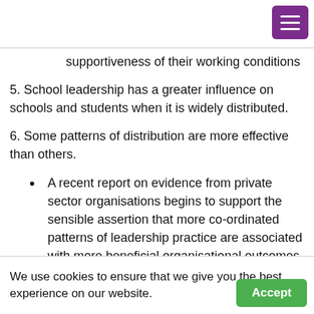[Figure (other): Purple hamburger menu button in top right corner]
supportiveness of their working conditions
5. School leadership has a greater influence on schools and students when it is widely distributed.
6. Some patterns of distribution are more effective than others.
A recent report on evidence from private sector organisations begins to support the sensible assertion that more co-ordinated patterns of leadership practice are associated with more beneficial organisational outcomes. No comparable evidence has
We use cookies to ensure that we give you the best experience on our website.